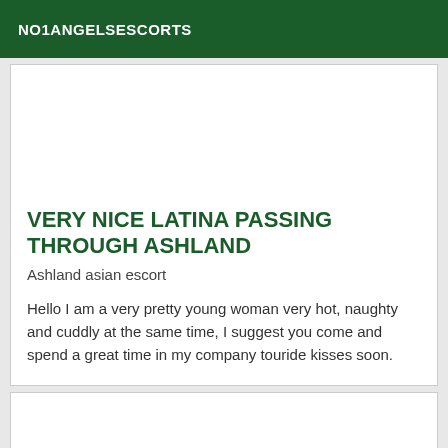NO1ANGELSESCORTS
VERY NICE LATINA PASSING THROUGH ASHLAND
Ashland asian escort
Hello I am a very pretty young woman very hot, naughty and cuddly at the same time, I suggest you come and spend a great time in my company touride kisses soon.